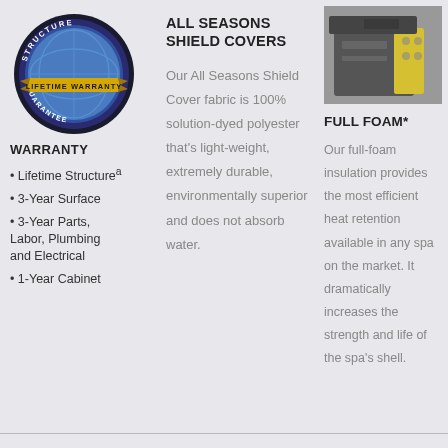[Figure (logo): Structure Lifetime Warranty Guarantee badge/seal with blue circular design, black outer ring with text, and gold ribbon banner saying LIFETIME WARRANTY]
WARRANTY
Lifetime Structureᵃ
3-Year Surface
3-Year Parts, Labor, Plumbing and Electrical
1-Year Cabinet
ALL SEASONS SHIELD COVERS
Our All Seasons Shield Cover fabric is 100% solution-dyed polyester that’s light-weight, extremely durable, environmentally superior and does not absorb water.
[Figure (photo): Photo of a spa/hot tub unit showing yellow foam insulation panel on the side and dark cabinet]
FULL FOAM*
Our full-foam insulation provides the most efficient heat retention available in any spa on the market. It dramatically increases the strength and life of the spa’s shell.